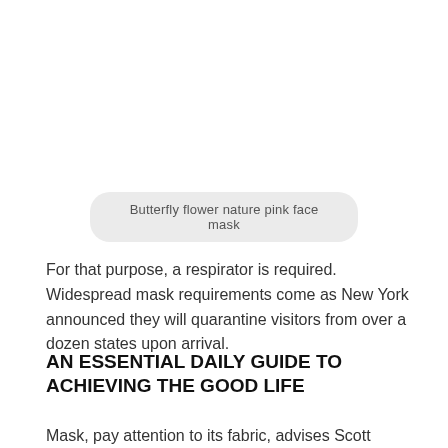Butterfly flower nature pink face mask
For that purpose, a respirator is required. Widespread mask requirements come as New York announced they will quarantine visitors from over a dozen states upon arrival.
AN ESSENTIAL DAILY GUIDE TO ACHIEVING THE GOOD LIFE
Mask, pay attention to its fabric, advises Scott Segal, MD,